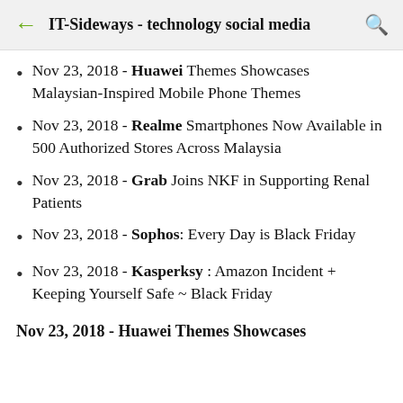IT-Sideways - technology social media
Nov 23, 2018 - Huawei Themes Showcases Malaysian-Inspired Mobile Phone Themes
Nov 23, 2018 - Realme Smartphones Now Available in 500 Authorized Stores Across Malaysia
Nov 23, 2018 - Grab Joins NKF in Supporting Renal Patients
Nov 23, 2018 - Sophos: Every Day is Black Friday
Nov 23, 2018 - Kasperksy : Amazon Incident + Keeping Yourself Safe ~ Black Friday
Nov 23, 2018 - Huawei Themes Showcases